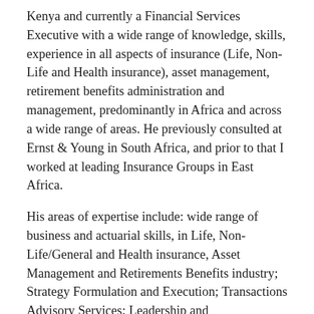Kenya and currently a Financial Services Executive with a wide range of knowledge, skills, experience in all aspects of insurance (Life, Non-Life and Health insurance), asset management, retirement benefits administration and management, predominantly in Africa and across a wide range of areas. He previously consulted at Ernst & Young in South Africa, and prior to that I worked at leading Insurance Groups in East Africa.
His areas of expertise include: wide range of business and actuarial skills, in Life, Non-Life/General and Health insurance, Asset Management and Retirements Benefits industry; Strategy Formulation and Execution; Transactions Advisory Services; Leadership and Entrepreneurship; Project Management; Risk Management; Europe's Solvency II and South Africa's SAM; and recently IFRS17.
Wycliffe's recent achievements in the Nigerian market include successfully transforming the Actuarial and Strategy Functions of AIICO Insurance Plc since joining and also overseeing the accreditation of AIICO Insurance